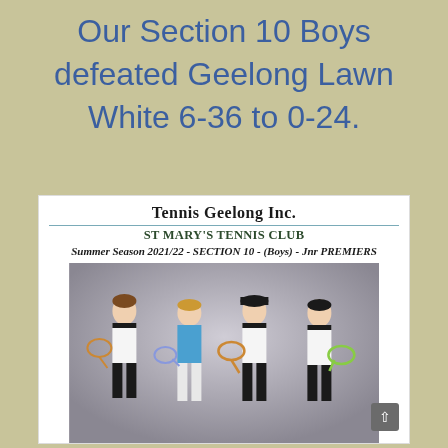Our Section 10 Boys defeated Geelong Lawn White 6-36 to 0-24.
[Figure (photo): Certificate/award card from Tennis Geelong Inc. for St Mary's Tennis Club, Summer Season 2021/22 - Section 10 (Boys) - Jnr PREMIERS, featuring a photo of four boys holding tennis rackets in team uniforms against a grey studio background.]